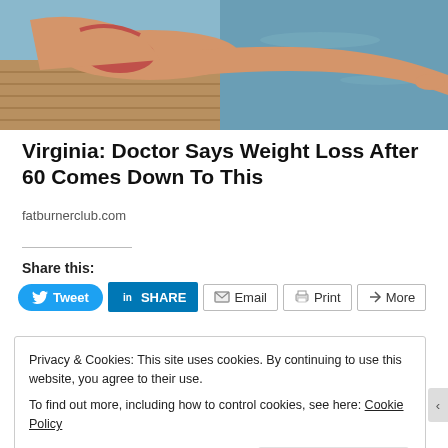[Figure (photo): Cropped photo of a person in a bikini lying on a dock near water]
Virginia: Doctor Says Weight Loss After 60 Comes Down To This
fatburnerclub.com
Share this:
[Figure (screenshot): Social share buttons: Tweet, SHARE (LinkedIn), Email, Print, More]
Privacy & Cookies: This site uses cookies. By continuing to use this website, you agree to their use.
To find out more, including how to control cookies, see here: Cookie Policy
Close and accept